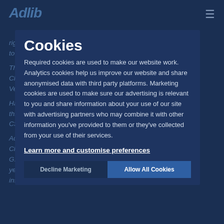Adlib
rigging, and enabling substantial audio systems to be flown for the first time!
This also made a thorough statement about the Clair PA and was a move to make a quality Vertex...
Having a world class auditorium space utilising this system in Max Bonus, the Adlib team proposed a CSR (as a custom)...
Adlib was also delighted at having selected Clair – one manufacturers' system specialist G... for several years – became embroiled in the design, installation and commissioning process.
Cookies
Required cookies are used to make our website work. Analytics cookies help us improve our website and share anonymised data with third party platforms. Marketing cookies are used to make sure our advertising is relevant to you and share information about your use of our site with advertising partners who may combine it with other information you've provided to them or they've collected from your use of their services.
Learn more and customise preferences
Decline Marketing
Allow All Cookies